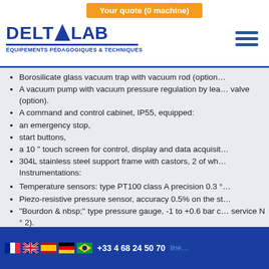DELTALAB - ÉQUIPEMENTS PÉDAGOGIQUES & TECHNIQUES
Your quote (0 machine)
Borosilicate glass vacuum trap with vacuum rod (option…
A vacuum pump with vacuum pressure regulation by lea… valve (option).
A command and control cabinet, IP55, equipped:
an emergency stop,
start buttons,
a 10 '' touch screen for control, display and data acquisit…
304L stainless steel support frame with castors, 2 of wh… Instrumentations:
Temperature sensors: type PT100 class A precision 0.3 °…
Piezo-resistive pressure sensor, accuracy 0.5% on the st…
"Bourdon & nbsp;" type pressure gauge, -1 to +0.6 bar c… service N ° 2).
High level probes.
Electronic float flowmeter for the product on the supply…
Elec… matic dic… with… one r…
+33 4 68 24 50 70